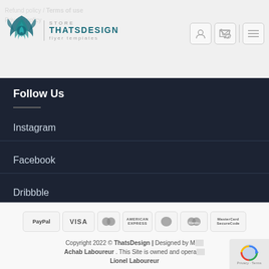Refund policy / Terms of use | Privacy policy | STORE THATSDESIGN flyer templates
Follow Us
Instagram
Facebook
Dribbble
[Figure (logo): Payment method icons: PayPal, VISA, MasterCard, American Express, Maestro, MasterCard SecureCode]
Copyright 2022 © ThatsDesign | Designed by Marc Achab Laboureur . This Site is owned and operated by Lionel Laboureur